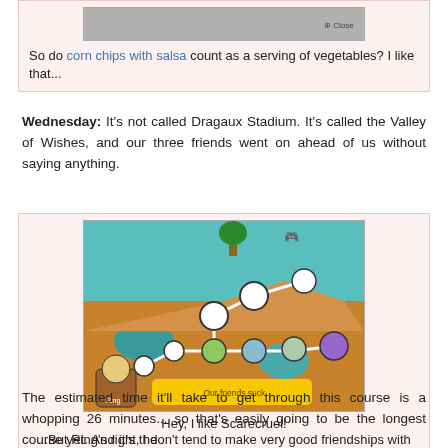[Figure (screenshot): Screenshot of a game or app with a close button, shown partially at top]
So do corn chips with salsa count as a serving of vegetables? I like that...
Wednesday: It's not called Dragaux Stadium. It's called the Valley of Wishes, and our three friends went on ahead of us without saying anything.
[Figure (screenshot): Screenshot of a game showing a colorful map (Valley of Wishes) with character icons connected by paths, and a yellow dialogue box reading '...Our friends suck.']
Hey, I like Scarecruel!
...But Ring's right, I don't tend to make very good friendships with others.
The estimated time it'll take to get through this course is a whopping 26 minutes... so that's easily going to be the longest course yet. And it's the